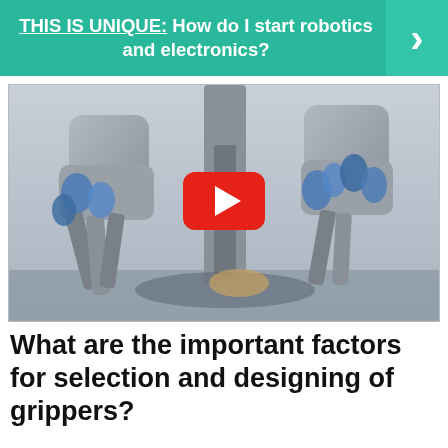THIS IS UNIQUE:  How do I start robotics and electronics?
[Figure (photo): Robotic surgical arms (da Vinci style) with a YouTube play button overlay, showing multiple articulated robot arms with blue grippers performing a task.]
What are the important factors for selection and designing of grippers?